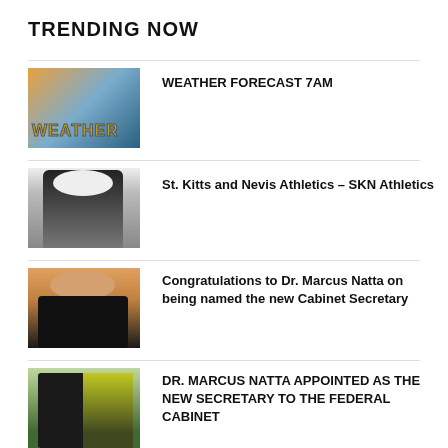TRENDING NOW
[Figure (photo): Weather forecast thumbnail with WEATHER text overlay on sky background]
WEATHER FORECAST 7AM
[Figure (photo): Portrait of an athlete in gray clothing]
St. Kitts and Nevis Athletics – SKN Athletics
[Figure (photo): Portrait of Dr. Marcus Natta in suit and tie on orange background]
Congratulations to Dr. Marcus Natta on being named the new Cabinet Secretary
[Figure (photo): Dr. Marcus Natta with green foliage and flag in background]
DR. MARCUS NATTA APPOINTED AS THE NEW SECRETARY TO THE FEDERAL CABINET